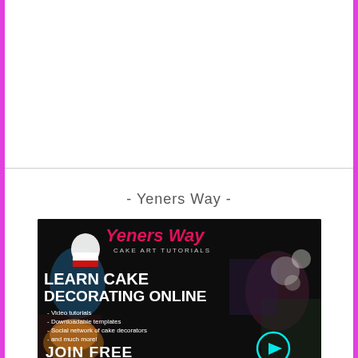- Yeners Way -
[Figure (photo): Yeners Way Cake Art Tutorials advertisement banner. Dark background with cake images. Logo reads 'Yeners Way Cake Art Tutorials'. Text reads 'Learn Cake Decorating Online'. Bullet points: Video tutorials, Downloadable templates, Social network of cake decorators, and much more! JOIN FREE with a play button icon.]